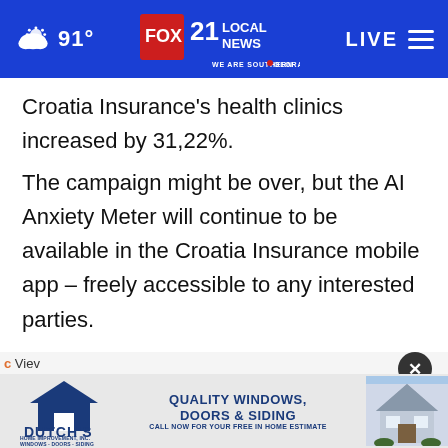FOX 21 LOCAL NEWS — WE ARE SOUTHERN COLORADO | 91° | LIVE
Croatia Insurance's health clinics increased by 31,22%.
The campaign might be over, but the AI Anxiety Meter will continue to be available in the Croatia Insurance mobile app – freely accessible to any interested parties.
Video link: https://youtu.be/rqoAFKc4TAI
[Figure (screenshot): Advertisement banner for Dutch's Home Improvement Inc. showing quality windows, doors & siding with a house image]
View